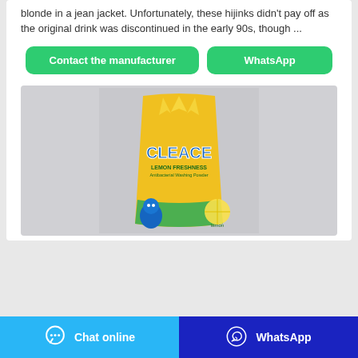blonde in a jean jacket. Unfortunately, these hijinks didn't pay off as the original drink was discontinued in the early 90s, though ...
Contact the manufacturer
WhatsApp
[Figure (photo): A yellow bag of Cleace Lemon Freshness antibacterial washing powder product on a grey background]
Chat online
WhatsApp